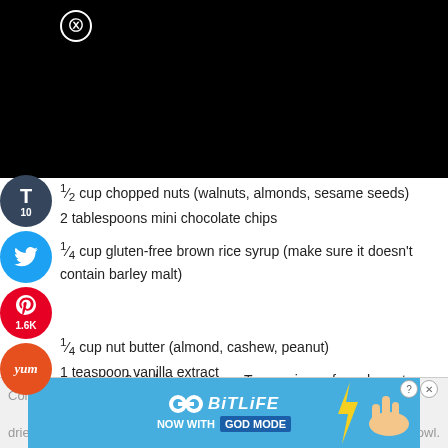[Figure (photo): Black rectangle representing a video or image placeholder with a close/X button in the upper left]
1/2 cup chopped nuts (walnuts, almonds, sesame seeds)
2 tablespoons mini chocolate chips
1/4 cup gluten-free brown rice syrup (make sure it doesn't contain barley malt)
1/4 cup nut butter (almond, cashew, peanut)
1 teaspoon vanilla extract
Lightly grease an 8-inch square pan. Tear a piece of parchment paper just large enough to cover the pan.
Combine … dried f… bowl.